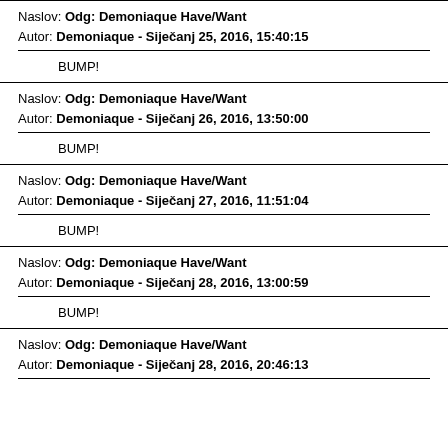Naslov: Odg: Demoniaque Have/Want
Autor: Demoniaque - Siječanj 25, 2016, 15:40:15
BUMP!
Naslov: Odg: Demoniaque Have/Want
Autor: Demoniaque - Siječanj 26, 2016, 13:50:00
BUMP!
Naslov: Odg: Demoniaque Have/Want
Autor: Demoniaque - Siječanj 27, 2016, 11:51:04
BUMP!
Naslov: Odg: Demoniaque Have/Want
Autor: Demoniaque - Siječanj 28, 2016, 13:00:59
BUMP!
Naslov: Odg: Demoniaque Have/Want
Autor: Demoniaque - Siječanj 28, 2016, 20:46:13